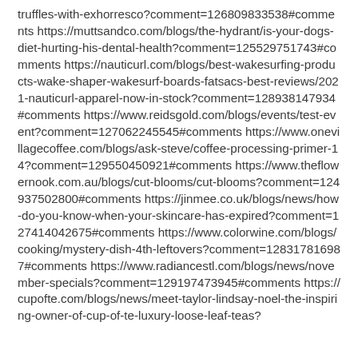truffles-with-exhorresco?comment=126809833538#comments https://muttsandco.com/blogs/the-hydrant/is-your-dogs-diet-hurting-his-dental-health?comment=125529751743#comments https://nauticurl.com/blogs/best-wakesurfing-products-wake-shaper-wakesurf-boards-fatsacs-best-reviews/2021-nauticurl-apparel-now-in-stock?comment=128938147934#comments https://www.reidsgold.com/blogs/events/test-event?comment=127062245545#comments https://www.onevillagecoffee.com/blogs/ask-steve/coffee-processing-primer-14?comment=129550450921#comments https://www.theflowernook.com.au/blogs/cut-blooms/cut-blooms?comment=124937502800#comments https://jinmee.co.uk/blogs/news/how-do-you-know-when-your-skincare-has-expired?comment=127414042675#comments https://www.colorwine.com/blogs/cooking/mystery-dish-4th-leftovers?comment=128317816987#comments https://www.radiancestl.com/blogs/news/november-specials?comment=129197473945#comments https://cupofte.com/blogs/news/meet-taylor-lindsay-noel-the-inspiring-owner-of-cup-of-te-luxury-loose-leaf-teas?